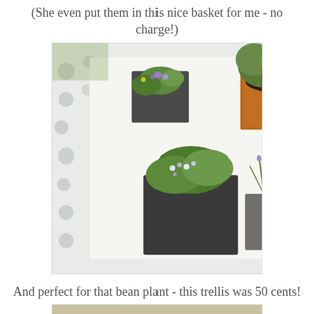(She even put them in this nice basket for me - no charge!)
[Figure (photo): Three small potted plants with purple flowers sitting in a white plastic basket with circular holes. Plants are in black and terracotta pots on a white surface.]
And perfect for that bean plant - this trellis was 50 cents!
[Figure (photo): A porch scene showing a green trellis leaning against the wall, with green foliage on the left, a red door and stone wall visible in the background.]